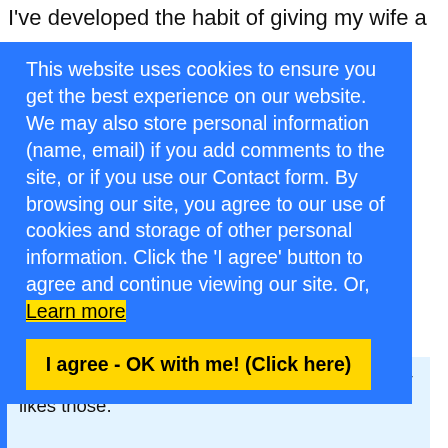I've developed the habit of giving my wife a
This website uses cookies to ensure you get the best experience on our website. We may also store personal information (name, email) if you add comments to the site, or if you use our Contact form. By browsing our site, you agree to our use of cookies and storage of other personal information. Click the 'I agree' button to agree and continue viewing our site. Or, Learn more
I agree - OK with me! (Click here)
I guess it will be another pocketknife. He usually likes those.